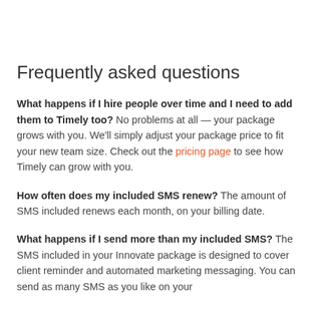Frequently asked questions
What happens if I hire people over time and I need to add them to Timely too? No problems at all — your package grows with you. We'll simply adjust your package price to fit your new team size. Check out the pricing page to see how Timely can grow with you.
How often does my included SMS renew? The amount of SMS included renews each month, on your billing date.
What happens if I send more than my included SMS? The SMS included in your Innovate package is designed to cover client reminder and automated marketing messaging. You can send as many SMS as you like on your plan — billing based on SMS out for anything...